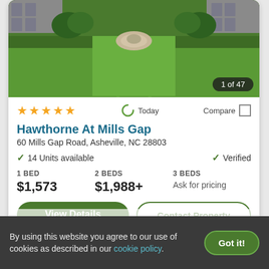[Figure (photo): Exterior photo of apartment community showing lush green lawn with circular stone fountain feature in center, houses visible in background. Badge shows '1 of 47'.]
★★★★★  Today  Compare
Hawthorne At Mills Gap
60 Mills Gap Road, Asheville, NC 28803
✓ 14 Units available    ✓ Verified
1 BED $1,573   2 BEDS $1,988+   3 BEDS Ask for pricing
View Details   Contact Property
By using this website you agree to our use of cookies as described in our cookie policy.   Got it!